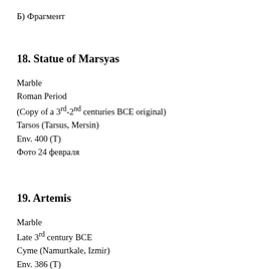Б) Фрагмент
18. Statue of Marsyas
Marble
Roman Period
(Copy of a 3rd-2nd centuries BCE original)
Tarsos (Tarsus, Mersin)
Env. 400 (T)
Фото 24 февраля
19. Artemis
Marble
Late 3rd century BCE
Cyme (Namurtkale, Izmir)
Env. 386 (T)